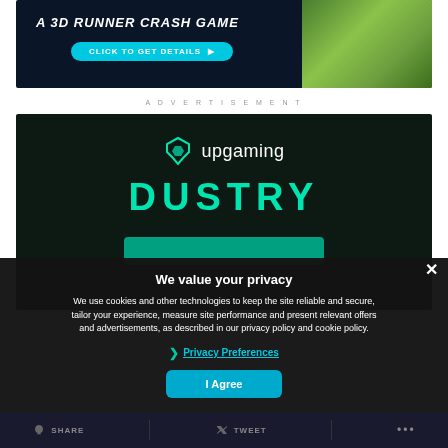[Figure (screenshot): Top advertisement banner for a 3D Runner Crash Game with dark blue background, 'A 3D RUNNER CRASH GAME' text, cyan 'CLICK TO GET DETAILS' button, and green game imagery on the right]
ADVERTISEMENT
[Figure (screenshot): Upgaming advertisement banner with dark background showing the upgaming logo and 'DUSTRY' text in teal/cyan color with green accent bar]
We value your privacy
We use cookies and other technologies to keep the site reliable and secure, tailor your experience, measure site performance and present relevant offers and advertisements, as described in our privacy policy and cookie policy.
❯ Privacy Preferences
I Agree
SHARE
TWEET